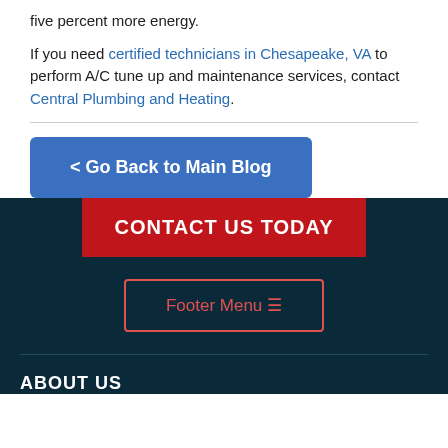five percent more energy.
If you need certified technicians in Chesapeake, VA to perform A/C tune up and maintenance services, contact Central Plumbing and Heating.
< Go Back to Main Blog
CONTACT US TODAY
Footer Menu ≡
ABOUT US